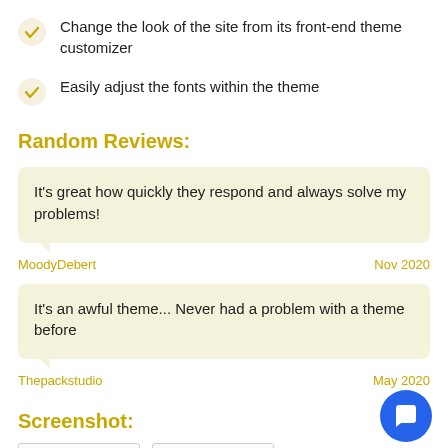Change the look of the site from its front-end theme customizer
Easily adjust the fonts within the theme
Random Reviews:
It's great how quickly they respond and always solve my problems!
MoodyDebert  Nov 2020
It's an awful theme... Never had a problem with a theme before
Thepackstudio  May 2020
Screenshot:
[Figure (screenshot): Two small screenshot thumbnail boxes]